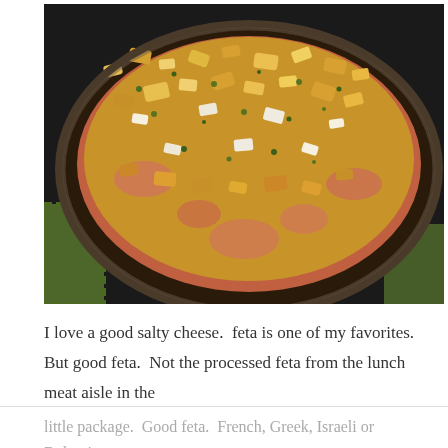[Figure (photo): Close-up photo of a cast iron skillet filled with shrimp topped with a golden breadcrumb, feta cheese, and herb crust, sitting on a green woven surface.]
I love a good salty cheese.  feta is one of my favorites.  But good feta.  Not the processed feta from the lunch meat aisle in the
little package.  Good feta.  French, Greek, Israeli or Bulgarian